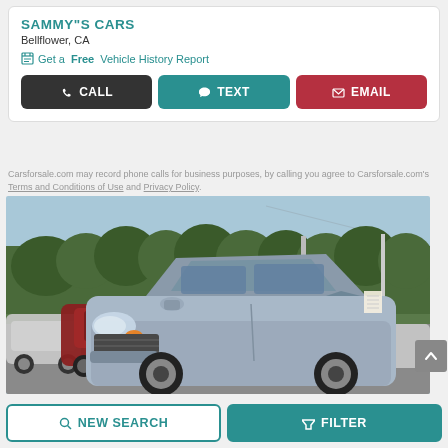SAMMY"S CARS
Bellflower, CA
Get a Free Vehicle History Report
CALL  TEXT  EMAIL
Carsforsale.com may record phone calls for business purposes, by calling you agree to Carsforsale.com's Terms and Conditions of Use and Privacy Policy.
[Figure (photo): Silver/grey sedan (Kia Optima) in a car dealership lot with trees and other vehicles in the background]
NEW SEARCH  FILTER